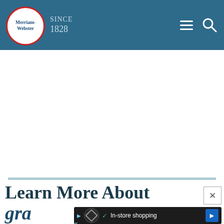[Figure (logo): Merriam-Webster logo with red circle border on teal header, with 'SINCE 1828' text]
Learn More About
gra
[Figure (screenshot): Advertisement banner: play icon, loop logo circle, checkmark, In-store shopping text, blue arrow navigation icon, and X close button]